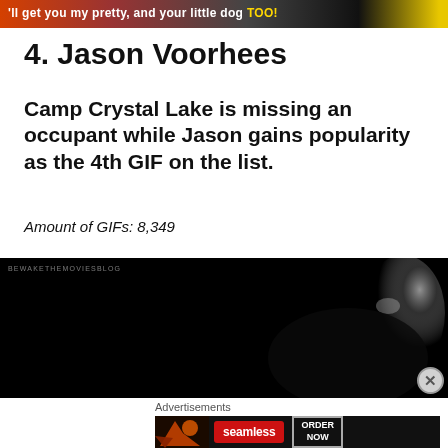[Figure (screenshot): Top banner image with colorful background and partially visible bold text]
4. Jason Voorhees
Camp Crystal Lake is missing an occupant while Jason gains popularity as the 4th GIF on the list.
Amount of GIFs: 8,349
[Figure (photo): Dark image showing Jason Voorhees hockey mask, nearly all black with partially visible shiny mask on right side. Watermark reads BEWAKETHEMOVIESBLOG.]
Advertisements
[Figure (screenshot): Seamless food delivery advertisement with pizza image on left, red Seamless logo in center, and ORDER NOW button on right, on dark background.]